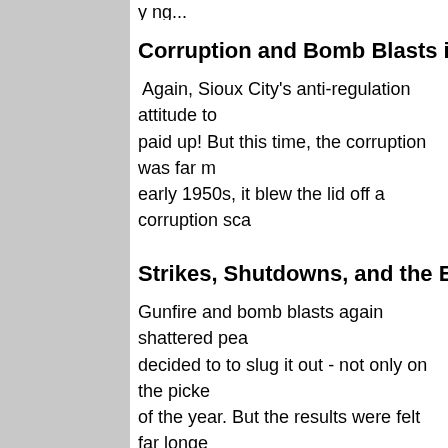Corruption and Bomb Blasts in the Ni
Again, Sioux City's anti-regulation attitude to paid up! But this time, the corruption was far m early 1950s, it blew the lid off a corruption sca
Strikes, Shutdowns, and the Exodus -
Gunfire and bomb blasts again shattered pea decided to to slug it out - not only on the picke of the year. But the results were felt far longe
Join me for a Century of Sioux City History th fascinating stories that deserve to be told! His
See you at WIT? I hope so!
For questions, send me a note by clicking her
Want to see a list of ALL my classes over the